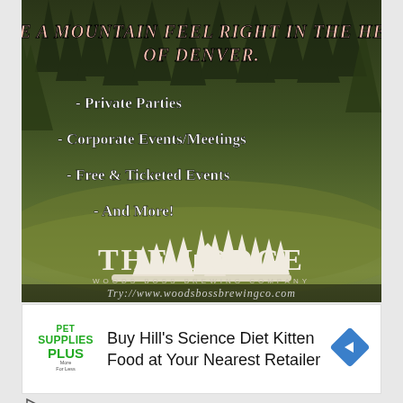[Figure (illustration): The Lodge at Woods Boss Brewing Company advertisement with forest background. Text reads: HAVE A MOUNTAIN FEEL RIGHT IN THE HEART OF DENVER. Bullet points: Private Parties, Corporate Events/Meetings, Free & Ticketed Events, And More! Features The Lodge logo with pine tree silhouettes.]
[Figure (infographic): Pet Supplies Plus advertisement: Buy Hill's Science Diet Kitten Food at Your Nearest Retailer. Shows Pet Supplies Plus logo in green and a blue navigation diamond/arrow icon.]